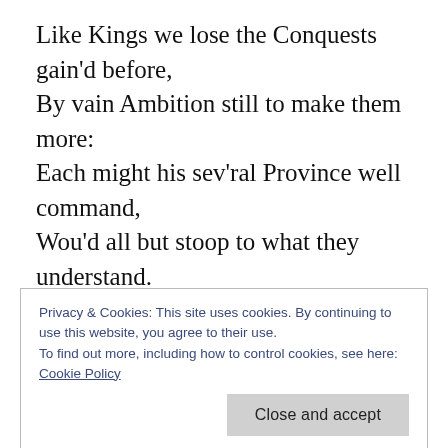Like Kings we lose the Conquests gain'd before,
By vain Ambition still to make them more:
Each might his sev'ral Province well command,
Wou'd all but stoop to what they understand.

First follow NATURE, and your Judgment frame
By her just Standard, which is still the same:
Unerring Nature, still divinely bright,
One clear, unchang'd and Universal Light,
Life, Force, and Beauty, must to all impart,
At once the Source, and End, and Test of Art
Privacy & Cookies: This site uses cookies. By continuing to use this website, you agree to their use.
To find out more, including how to control cookies, see here: Cookie Policy
It self unseen, but in th' Effects, remains